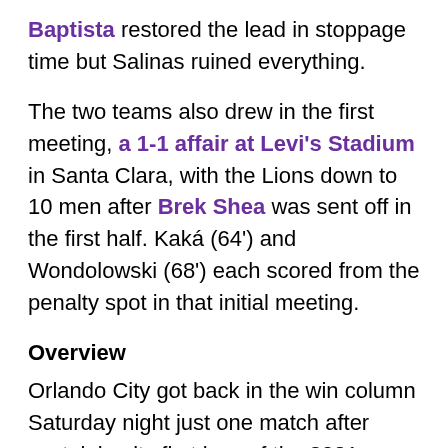Baptista restored the lead in stoppage time but Salinas ruined everything.
The two teams also drew in the first meeting, a 1-1 affair at Levi's Stadium in Santa Clara, with the Lions down to 10 men after Brek Shea was sent off in the first half. Kaká (64') and Wondolowski (68') each scored from the penalty spot in that initial meeting.
Overview
Orlando City got back in the win column Saturday night just one match after sustaining its first loss of the 2021 season. The Lions are 2-0-2 in home matches this season and 3-0-2 in all games played in Exploria Stadium. Against Toronto, Orlando had its first multi-goal offensive output since a 3-0 win over FC Cincinnati on May 1 — and just the second time this